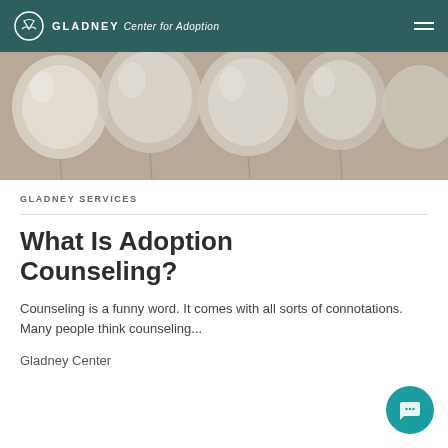GLADNEY Center for Adoption
[Figure (photo): Close-up photo of white/translucent balloons clustered together]
GLADNEY SERVICES
What Is Adoption Counseling?
Counseling is a funny word. It comes with all sorts of connotations. Many people think counseling...
Gladney Center